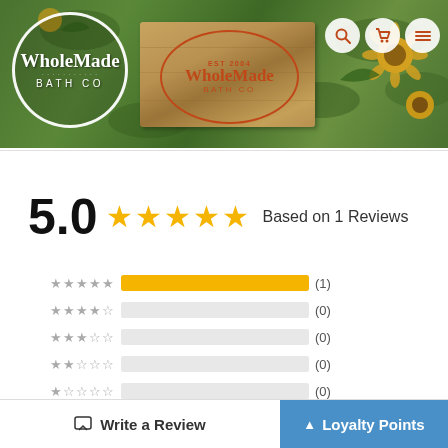[Figure (screenshot): WholeMade Bath Co website header with sunflower background, white circle logo on left, wooden crate with orange stamp logo in center, navigation icons (search, cart, menu) on top right]
5.0 ★★★★★ Based on 1 Reviews
[Figure (bar-chart): Rating breakdown]
Write a Review
▲ Loyalty Points